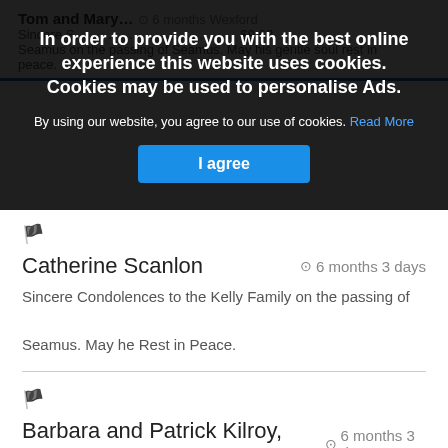In order to provide you with the best online experience this website uses cookies. Cookies may be used to personalise Ads.
By using our website, you agree to our use of cookies. Read More
I agree
Catherine Scanlon  ⊙ 6 months 3 days
Sincere Condolences to the Kelly Family on the passing of Seamus. May he Rest in Peace.
Barbara and Patrick Kilroy, Letterkeen.  ⊙ 6 months 3 days